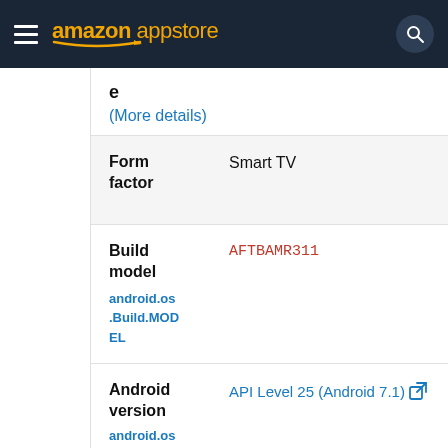amazon appstore
e
(More details)
| Property | Value |
| --- | --- |
| Form factor | Smart TV |
| Build model | AFTBAMR311
android.os.Build.MODEL |
| Android version | API Level 25 (Android 7.1)
android.os.Build.VER |